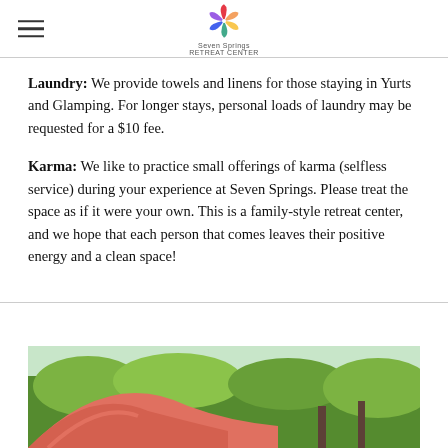Seven Springs Retreat Center logo and navigation
Laundry: We provide towels and linens for those staying in Yurts and Glamping. For longer stays, personal loads of laundry may be requested for a $10 fee.
Karma: We like to practice small offerings of karma (selfless service) during your experience at Seven Springs. Please treat the space as if it were your own. This is a family-style retreat center, and we hope that each person that comes leaves their positive energy and a clean space!
[Figure (photo): Outdoor photo showing a large pink/coral yurt or tent structure with green trees in the background]